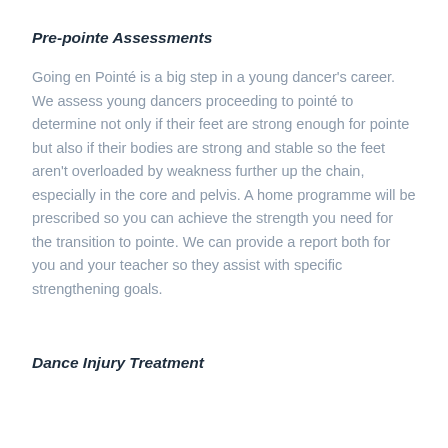Pre-pointe Assessments
Going en Pointé is a big step in a young dancer's career. We assess young dancers proceeding to pointé to determine not only if their feet are strong enough for pointe but also if their bodies are strong and stable so the feet aren't overloaded by weakness further up the chain, especially in the core and pelvis. A home programme will be prescribed so you can achieve the strength you need for the transition to pointe. We can provide a report both for you and your teacher so they assist with specific strengthening goals.
Dance Injury Treatment